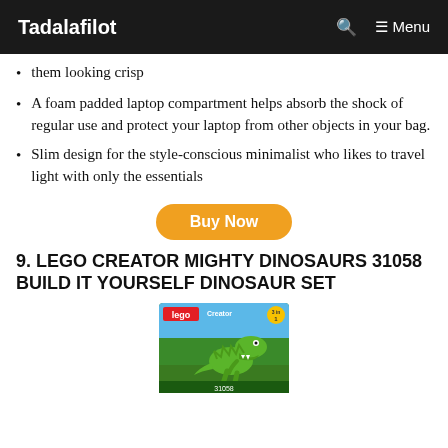Tadalafilot   🔍   ☰ Menu
them looking crisp
A foam padded laptop compartment helps absorb the shock of regular use and protect your laptop from other objects in your bag.
Slim design for the style-conscious minimalist who likes to travel light with only the essentials
Buy Now
9. LEGO CREATOR MIGHTY DINOSAURS 31058 BUILD IT YOURSELF DINOSAUR SET
[Figure (photo): LEGO Creator Mighty Dinosaurs 31058 product box showing a green T-Rex dinosaur against a colorful background]